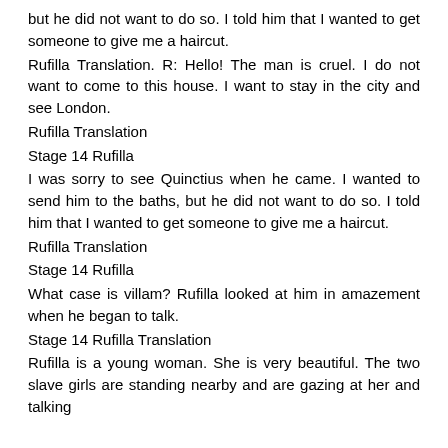but he did not want to do so. I told him that I wanted to get someone to give me a haircut.
Rufilla Translation. R: Hello! The man is cruel. I do not want to come to this house. I want to stay in the city and see London.
Rufilla Translation
Stage 14 Rufilla
I was sorry to see Quinctius when he came. I wanted to send him to the baths, but he did not want to do so. I told him that I wanted to get someone to give me a haircut.
Rufilla Translation
Stage 14 Rufilla
What case is villam? Rufilla looked at him in amazement when he began to talk.
Stage 14 Rufilla Translation
Rufilla is a young woman. She is very beautiful. The two slave girls are standing nearby and are gazing at her and talking